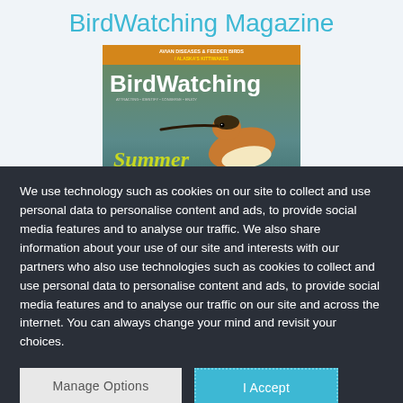BirdWatching Magazine
[Figure (photo): BirdWatching Magazine cover showing a shorebird, with text 'AVIAN DISEASES & FEEDER BIRDS / ALASKA'S KITTIWAKES', 'BirdWatching', 'Summer SHOREBIRDS']
We use technology such as cookies on our site to collect and use personal data to personalise content and ads, to provide social media features and to analyse our traffic. We also share information about your use of our site and interests with our partners who also use technologies such as cookies to collect and use personal data to personalise content and ads, to provide social media features and to analyse our traffic on our site and across the internet. You can always change your mind and revisit your choices.
Manage Options
I Accept